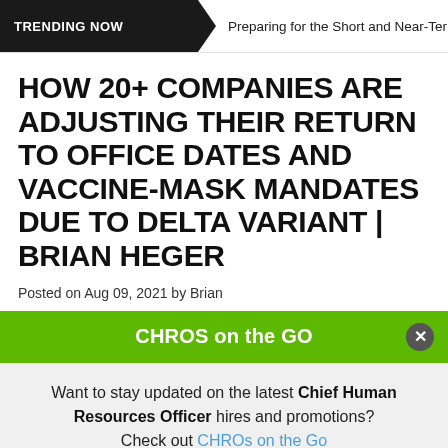TRENDING NOW | Preparing for the Short and Near-Term
HOW 20+ COMPANIES ARE ADJUSTING THEIR RETURN TO OFFICE DATES AND VACCINE-MASK MANDATES DUE TO DELTA VARIANT | BRIAN HEGER
Posted on Aug 09, 2021 by Brian
CHROS on the GO
Want to stay updated on the latest Chief Human Resources Officer hires and promotions? Check out CHROs on the Go